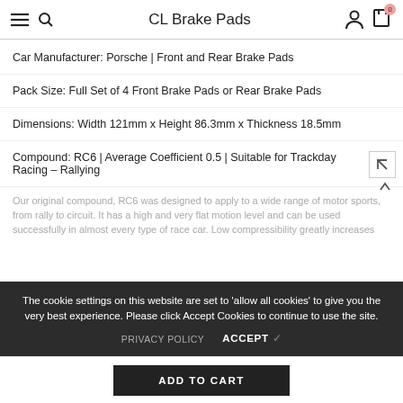CL Brake Pads
Car Manufacturer: Porsche | Front and Rear Brake Pads
Pack Size: Full Set of 4 Front Brake Pads or Rear Brake Pads
Dimensions: Width 121mm x Height 86.3mm x Thickness 18.5mm
Compound: RC6 | Average Coefficient 0.5 | Suitable for Trackday Racing – Rallying
Our original compound, RC6 was designed to apply to a wide range of motor sports, from rally to circuit. It has a high and very flat motion level and can be used successfully in almost every type of race car. Low compressibility greatly increases
The cookie settings on this website are set to 'allow all cookies' to give you the very best experience. Please click Accept Cookies to continue to use the site.
PRIVACY POLICY   ACCEPT ✓
ADD TO CART